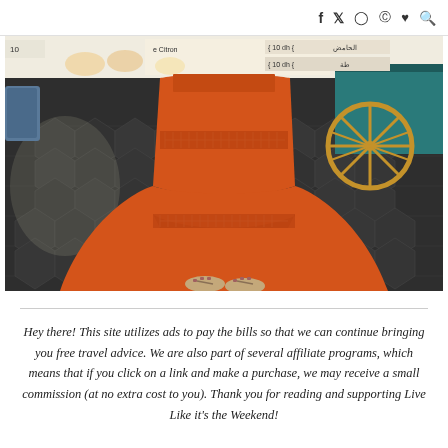f  t  ◎  ⊕  ♥  🔍
[Figure (photo): A person wearing an orange wide-leg boho pants/dress standing on a dark stone tiled floor in what appears to be a Moroccan market (Jemaa el-Fna square). A market stall cart with a large wooden wheel is visible on the right. The top of the image shows a sign with Arabic text and prices '10 dh'.]
Hey there! This site utilizes ads to pay the bills so that we can continue bringing you free travel advice. We are also part of several affiliate programs, which means that if you click on a link and make a purchase, we may receive a small commission (at no extra cost to you). Thank you for reading and supporting Live Like it's the Weekend!